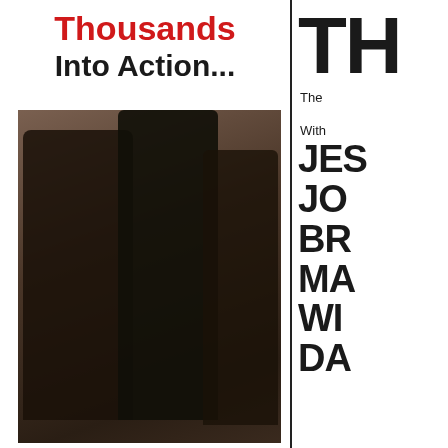Thousands Into Action...
[Figure (photo): Two or three musicians on stage performing, one holding a red guitar, another playing guitar, black and white/sepia toned concert photo]
TH
The
With
JES
JO
BR
MA
WI
DA